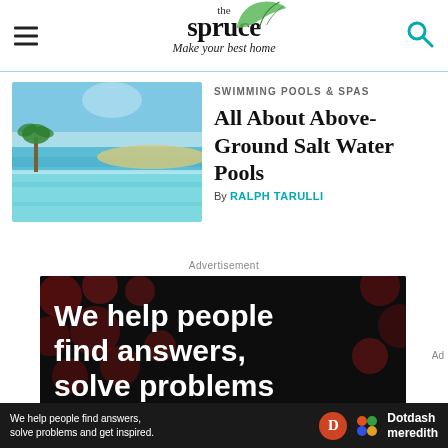the spruce — Make your best home
[Figure (photo): Aerial or elevated view of an infinity pool overlooking the ocean with blue sky, sandy coast, and palm trees]
SWIMMING POOLS & SPAS
All About Above-Ground Salt Water Pools
By RALPH TARULLI
Advertisement
[Figure (other): Advertisement banner: 'We help people find answers, solve problems' on dark background with red dot pattern — Dotdash Meredith branding]
We help people find answers, solve problems and get inspired.